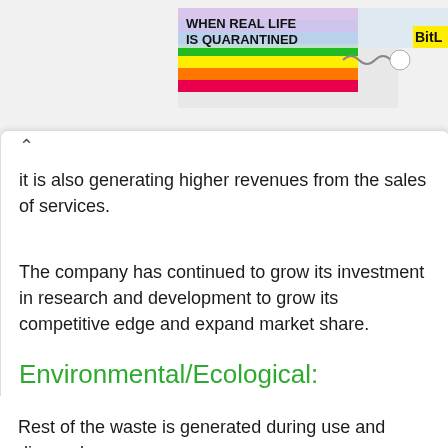[Figure (screenshot): Website banner advertisement showing colorful rainbow graphic with text 'WHEN REAL LIFE IS QUARANTINED' and 'BitL' branding on right side]
It is also generating higher revenues from the sales of services.
The company has continued to grow its investment in research and development to grow its competitive edge and expand market share.
Environmental/Ecological:
Most of the greenhouse effect that Apple creates comes from its manufacturing processes.
Rest of the waste is generated during use and disposal.